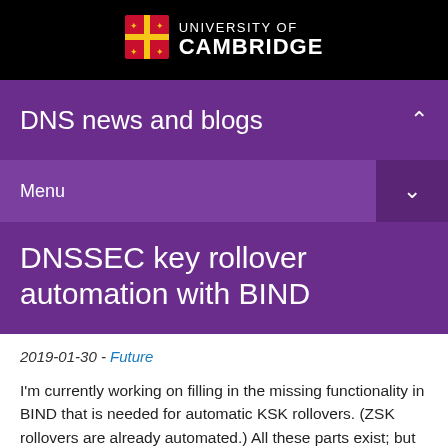[Figure (logo): University of Cambridge logo with shield and text on black background]
DNS news and blogs
Menu
DNSSEC key rollover automation with BIND
2019-01-30 - Future
I'm currently working on filling in the missing functionality in BIND that is needed for automatic KSK rollovers. (ZSK rollovers are already automated.) All these parts exist; but they have gaps and don't yet work together.